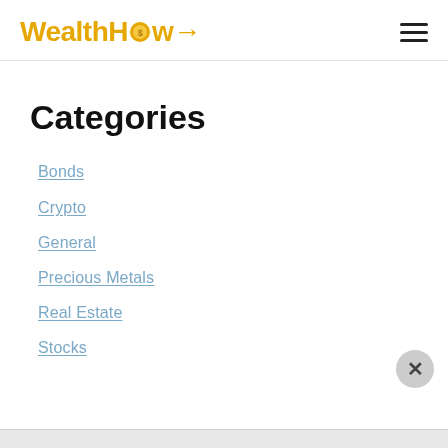WealthHow
Categories
Bonds
Crypto
General
Precious Metals
Real Estate
Stocks